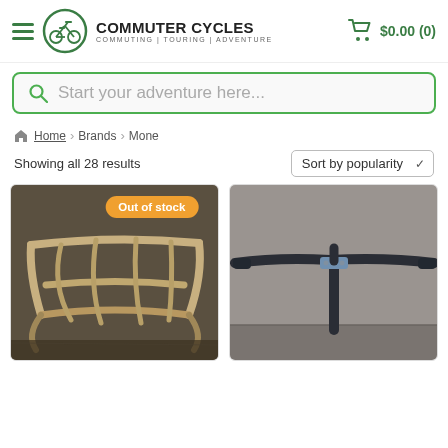COMMUTER CYCLES | COMMUTING | TOURING | ADVENTURE | $0.00 (0)
Start your adventure here...
Home > Brands > Mone
Showing all 28 results
Sort by popularity
[Figure (photo): Close-up photo of a metallic silver bike rack/carrier with bent tube construction on a concrete floor. Orange badge reads 'Out of stock'.]
[Figure (photo): Close-up photo of a dark blue/black bicycle handlebar with center stem clamp, against a grey wall background.]